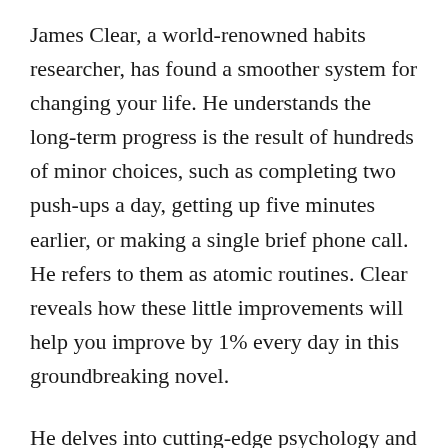James Clear, a world-renowned habits researcher, has found a smoother system for changing your life. He understands the long-term progress is the result of hundreds of minor choices, such as completing two push-ups a day, getting up five minutes earlier, or making a single brief phone call. He refers to them as atomic routines. Clear reveals how these little improvements will help you improve by 1% every day in this groundbreaking novel.
He delves into cutting-edge psychology and neuroscience to understand why a handful of common life hacks (the lost art of Habit Stacking, the surprising force of the Two Minute Rule, or the secret to accessing the Goldilocks Zone) matter. Along the